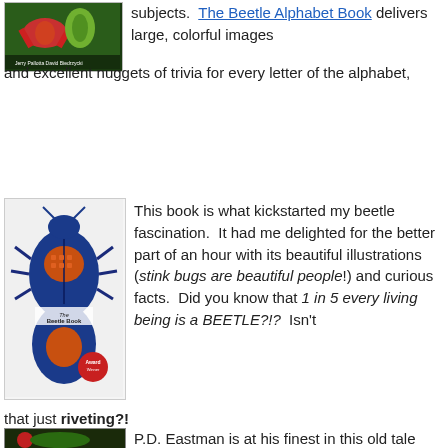[Figure (photo): Book cover of The Beetle Alphabet Book by Jerry Pallotta and David Biedrzycki, showing colorful insects on a dark background]
subjects.  The Beetle Alphabet Book delivers large, colorful images and excellent nuggets of trivia for every letter of the alphabet,
[Figure (photo): Book cover of The Beetle Book showing a large illustrated blue and orange beetle on white background with red award sticker]
This book is what kickstarted my beetle fascination.  It had me delighted for the better part of an hour with its beautiful illustrations (stink bugs are beautiful people!) and curious facts.  Did you know that 1 in 5 every living being is a BEETLE?!?  Isn't that just riveting?!
[Figure (photo): Book cover with red/dark background, bottom portion visible]
P.D. Eastman is at his finest in this old tale